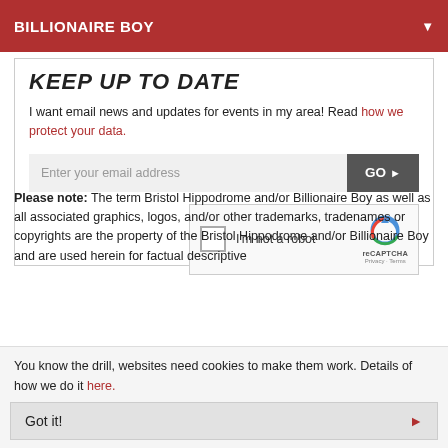BILLIONAIRE BOY
KEEP UP TO DATE
I want email news and updates for events in my area! Read how we protect your data.
Enter your email address  GO
[Figure (other): reCAPTCHA widget with checkbox labeled I'm not a robot]
Please note: The term Bristol Hippodrome and/or Billionaire Boy as well as all associated graphics, logos, and/or other trademarks, tradenames or copyrights are the property of the Bristol Hippodrome and/or Billionaire Boy and are used herein for factual descriptive
You know the drill, websites need cookies to make them work. Details of how we do it here.
Got it!